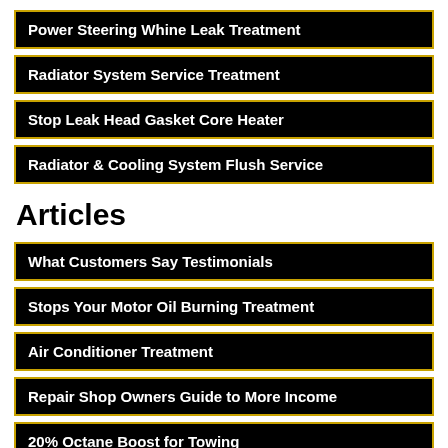Power Steering Whine Leak Treatment
Radiator System Service Treatment
Stop Leak Head Gasket Core Heater
Radiator & Cooling System Flush Service
Articles
What Customers Say Testimonials
Stops Your Motor Oil Burning Treatment
Air Conditioner Treatment
Repair Shop Owners Guide to More Income
20% Octane Boost for Towing
Ends your motor burns oil problem 2 easy steps Results can last years Some say